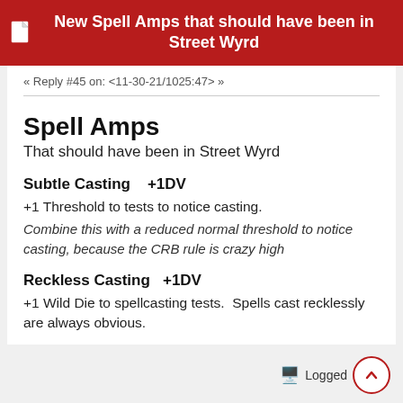New Spell Amps that should have been in Street Wyrd
« Reply #45 on: <11-30-21/1025:47> »
Spell Amps
That should have been in Street Wyrd
Subtle Casting   +1DV
+1 Threshold to tests to notice casting.
Combine this with a reduced normal threshold to notice casting, because the CRB rule is crazy high
Reckless Casting   +1DV
+1 Wild Die to spellcasting tests.  Spells cast recklessly are always obvious.
Logged